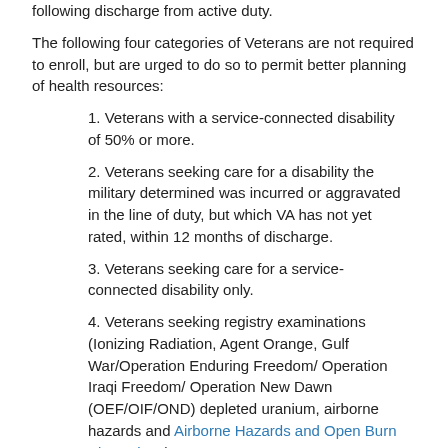following discharge from active duty.
The following four categories of Veterans are not required to enroll, but are urged to do so to permit better planning of health resources:
1. Veterans with a service-connected disability of 50% or more.
2. Veterans seeking care for a disability the military determined was incurred or aggravated in the line of duty, but which VA has not yet rated, within 12 months of discharge.
3. Veterans seeking care for a service-connected disability only.
4. Veterans seeking registry examinations (Ionizing Radiation, Agent Orange, Gulf War/Operation Enduring Freedom/ Operation Iraqi Freedom/ Operation New Dawn (OEF/OIF/OND) depleted uranium, airborne hazards and Airborne Hazards and Open Burn Pit Registry).
Learn more about Priority Groups: https://www.va.gov/opa/publications/benefits_book/benefits_chap01.asp